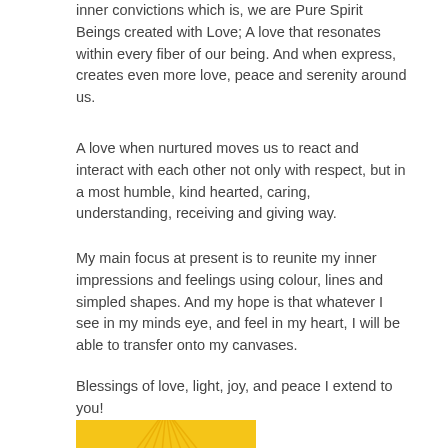inner convictions which is, we are Pure Spirit Beings created with Love; A love that resonates within every fiber of our being. And when express, creates even more love, peace and serenity around us.
A love when nurtured moves us to react and interact with each other not only with respect, but in a most humble, kind hearted, caring, understanding, receiving and giving way.
My main focus at present is to reunite my inner impressions and feelings using colour, lines and simpled shapes. And my hope is that whatever I see in my minds eye, and feel in my heart, I will be able to transfer onto my canvases.
Blessings of love, light, joy, and peace I extend to you!
[Figure (illustration): A painting with warm yellow and golden tones showing radiating lines suggesting sunlight or a spiritual figure, with white curved shapes resembling wings or petals and a small blue star/eye detail in the center.]